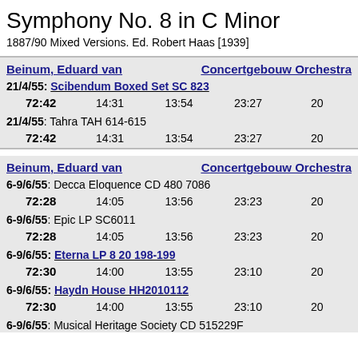Symphony No. 8 in C Minor
1887/90 Mixed Versions. Ed. Robert Haas [1939]
Beinum, Eduard van | Concertgebouw Orchestra
21/4/55: Scibendum Boxed Set SC 823
72:42   14:31   13:54   23:27   20
21/4/55: Tahra TAH 614-615
72:42   14:31   13:54   23:27   20
Beinum, Eduard van | Concertgebouw Orchestra
6-9/6/55: Decca Eloquence CD 480 7086
72:28   14:05   13:56   23:23   20
6-9/6/55: Epic LP SC6011
72:28   14:05   13:56   23:23   20
6-9/6/55: Eterna LP 8 20 198-199
72:30   14:00   13:55   23:10   20
6-9/6/55: Haydn House HH2010112
72:30   14:00   13:55   23:10   20
6-9/6/55: Musical Heritage Society CD 515229F